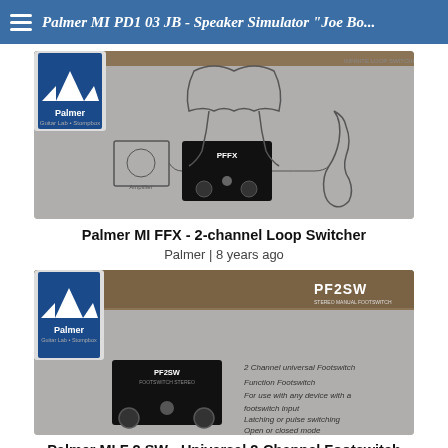Palmer MI PD1 03 JB - Speaker Simulator "Joe Bo...
[Figure (photo): Palmer MI FFX product photo showing the 2-channel loop switcher device with drawn diagram of guitar amp and guitar on grey concrete background]
Palmer MI FFX - 2-channel Loop Switcher
Palmer | 8 years ago
[Figure (photo): Palmer MI F 2 SW product photo showing the footswitch device with product feature text: 2 Channel universal Footswitch, Function Footswitch, For use with any device with a footswitch input, Latching or pulse switching, Open or closed mode]
Palmer MI F 2 SW - Universal 2-Channel Footswitch